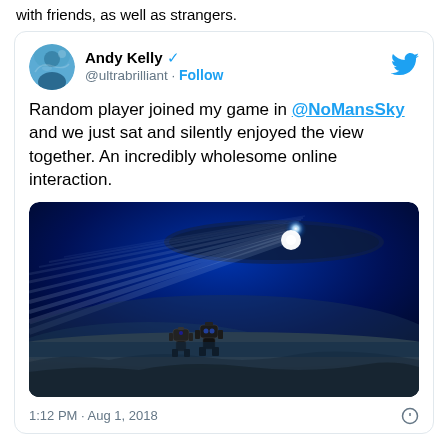with friends, as well as strangers.
[Figure (screenshot): Tweet from @ultrabrilliant (Andy Kelly, verified) with text: 'Random player joined my game in @NoMansSky and we just sat and silently enjoyed the view together. An incredibly wholesome online interaction.' with a screenshot from No Man's Sky showing two characters sitting on a rock viewing a dramatic celestial scene with rings and a bright star. Timestamp: 1:12 PM · Aug 1, 2018]
1:12 PM · Aug 1, 2018